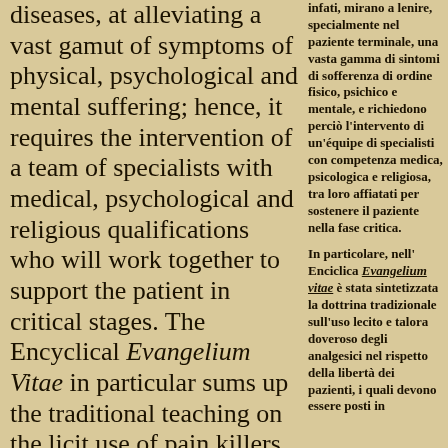diseases, at alleviating a vast gamut of symptoms of physical, psychological and mental suffering; hence, it requires the intervention of a team of specialists with medical, psychological and religious qualifications who will work together to support the patient in critical stages. The Encyclical Evangelium Vitae in particular sums up the traditional teaching on the licit use of pain killers that are sometimes called for, with respect for the freedom of patients who should be
infati, mirano a lenire, specialmente nel paziente terminale, una vasta gamma di sintomi di sofferenza di ordine fisico, psichico e mentale, e richiedono perciò l'intervento di un'équipe di specialisti con competenza medica, psicologica e religiosa, tra loro affiatati per sostenere il paziente nella fase critica.
In particolare, nell'Enciclica Evangelium vitae è stata sintetizzata la dottrina tradizionale sull'uso lecito e talora doveroso degli analgesici nel rispetto della libertà dei pazienti, i quali devono essere posti in